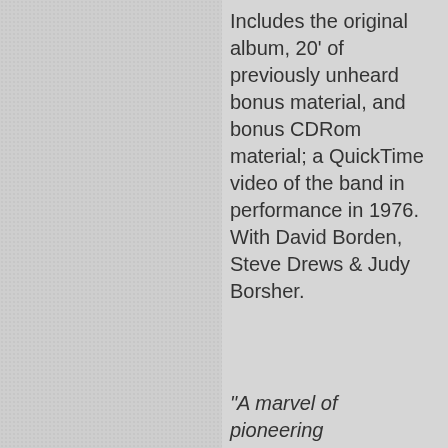Includes the original album, 20' of previously unheard bonus material, and bonus CDRom material; a QuickTime video of the band in performance in 1976. With David Borden, Steve Drews & Judy Borsher.
"A marvel of pioneering